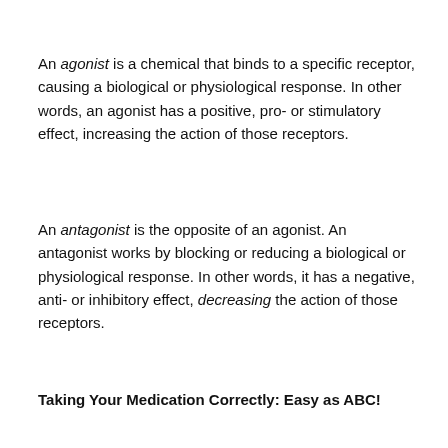An agonist is a chemical that binds to a specific receptor, causing a biological or physiological response. In other words, an agonist has a positive, pro- or stimulatory effect, increasing the action of those receptors.
An antagonist is the opposite of an agonist. An antagonist works by blocking or reducing a biological or physiological response. In other words, it has a negative, anti- or inhibitory effect, decreasing the action of those receptors.
Taking Your Medication Correctly: Easy as ABC!